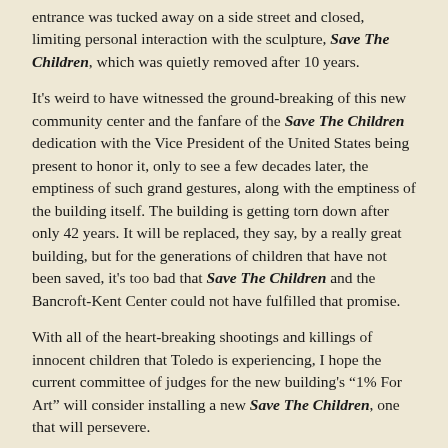entrance was tucked away on a side street and closed, limiting personal interaction with the sculpture, Save The Children, which was quietly removed after 10 years.
It's weird to have witnessed the ground-breaking of this new community center and the fanfare of the Save The Children dedication with the Vice President of the United States being present to honor it, only to see a few decades later, the emptiness of such grand gestures, along with the emptiness of the building itself. The building is getting torn down after only 42 years. It will be replaced, they say, by a really great building, but for the generations of children that have not been saved, it's too bad that Save The Children and the Bancroft-Kent Center could not have fulfilled that promise.
With all of the heart-breaking shootings and killings of innocent children that Toledo is experiencing, I hope the current committee of judges for the new building's "1% For Art" will consider installing a new Save The Children, one that will persevere.